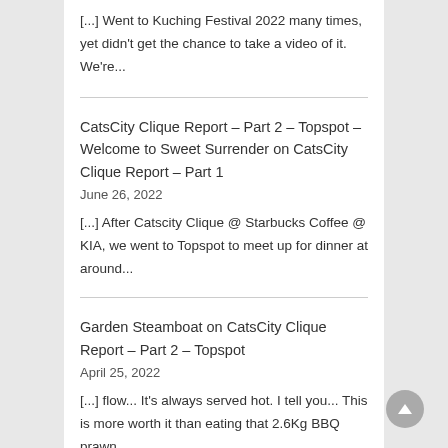[...] Went to Kuching Festival 2022 many times, yet didn't get the chance to take a video of it. We're...
CatsCity Clique Report – Part 2 – Topspot – Welcome to Sweet Surrender on CatsCity Clique Report – Part 1
June 26, 2022
[...] After Catscity Clique @ Starbucks Coffee @ KIA, we went to Topspot to meet up for dinner at around...
Garden Steamboat on CatsCity Clique Report – Part 2 – Topspot
April 25, 2022
[...] flow... It's always served hot. I tell you... This is more worth it than eating that 2.6Kg BBQ prawn...